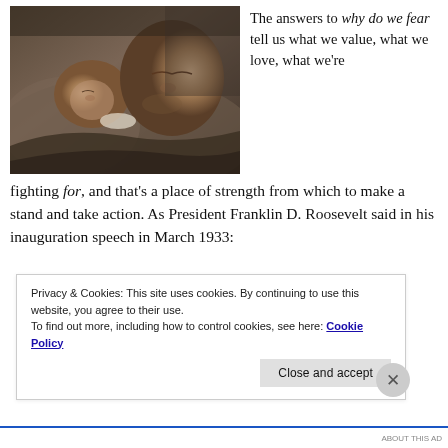[Figure (photo): A father and newborn baby sleeping peacefully together, close up, warm tones]
The answers to why do we fear tell us what we value, what we love, what we're fighting for, and that's a place of strength from which to make a stand and take action. As President Franklin D. Roosevelt said in his inauguration speech in March 1933:
Privacy & Cookies: This site uses cookies. By continuing to use this website, you agree to their use.
To find out more, including how to control cookies, see here: Cookie Policy
Close and accept